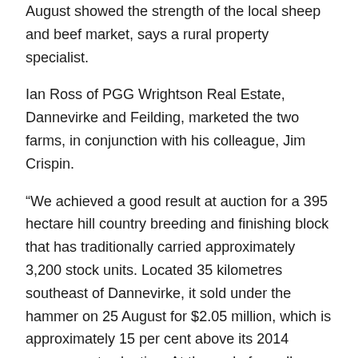August showed the strength of the local sheep and beef market, says a rural property specialist.
Ian Ross of PGG Wrightson Real Estate, Dannevirke and Feilding, marketed the two farms, in conjunction with his colleague, Jim Crispin.
“We achieved a good result at auction for a 395 hectare hill country breeding and finishing block that has traditionally carried approximately 3,200 stock units. Located 35 kilometres southeast of Dannevirke, it sold under the hammer on 25 August for $2.05 million, which is approximately 15 per cent above its 2014 government valuation. At the end of a well-contested auction with two motivated bidders, a Wairarapa farmer was the successful purchaser.
“Meanwhile, Strathallan, a 262 hectare property that has